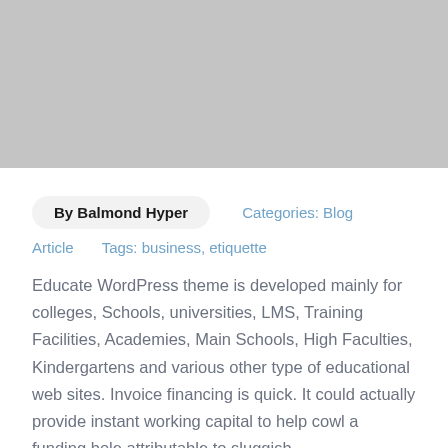[Figure (photo): Gray placeholder image at the top of the page]
By Balmond Hyper    Categories: Blog
Article    Tags: business, etiquette
Educate WordPress theme is developed mainly for colleges, Schools, universities, LMS, Training Facilities, Academies, Main Schools, High Faculties, Kindergartens and various other type of educational web sites. Invoice financing is quick. It could actually provide instant working capital to help cowl a funding hole attributable to sluggish